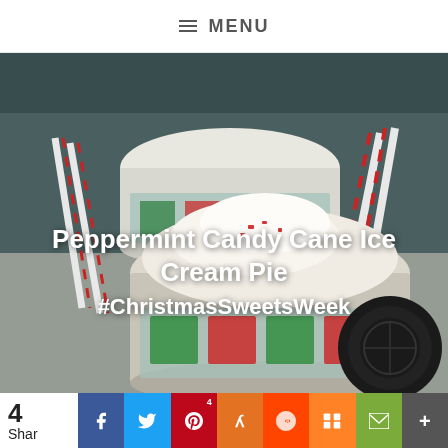≡ MENU
[Figure (photo): Photo of peppermint candy cane ice cream pie in a holiday-decorated container, with candy canes and an Oreo cookie in the background. White text overlay reads: Peppermint Candy Cane Ice Cream Pie #ChristmasSweetsWeek]
4 Share | Facebook | Twitter | Pinterest (4) | Yummly | Reddit | Mix | Email | More